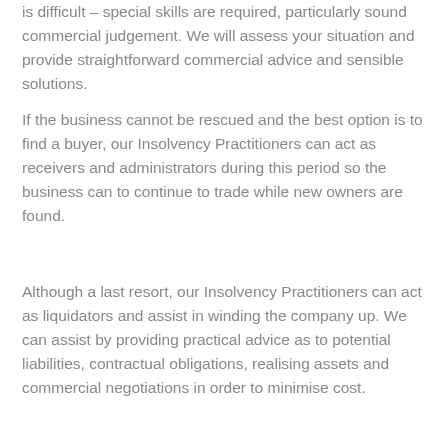is difficult – special skills are required, particularly sound commercial judgement. We will assess your situation and provide straightforward commercial advice and sensible solutions.
If the business cannot be rescued and the best option is to find a buyer, our Insolvency Practitioners can act as receivers and administrators during this period so the business can to continue to trade while new owners are found.
Although a last resort, our Insolvency Practitioners can act as liquidators and assist in winding the company up. We can assist by providing practical advice as to potential liabilities, contractual obligations, realising assets and commercial negotiations in order to minimise cost.